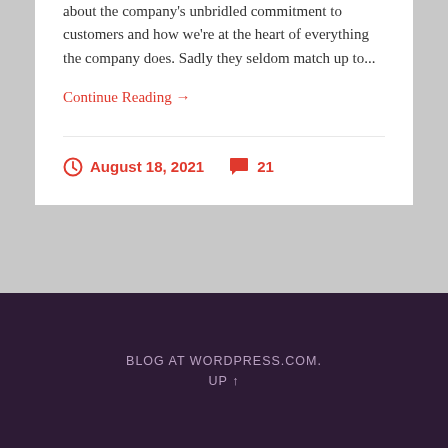about the company's unbridled commitment to customers and how we're at the heart of everything the company does. Sadly they seldom match up to...
Continue Reading →
August 18, 2021   21
BLOG AT WORDPRESS.COM.
UP ↑